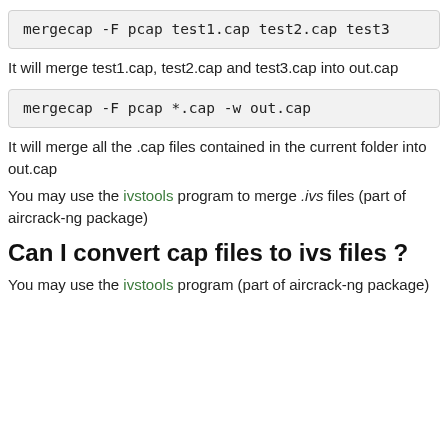mergecap -F pcap test1.cap test2.cap test3.cap -w out.cap
It will merge test1.cap, test2.cap and test3.cap into out.cap
mergecap -F pcap *.cap -w out.cap
It will merge all the .cap files contained in the current folder into out.cap
You may use the ivstools program to merge .ivs files (part of aircrack-ng package)
Can I convert cap files to ivs files ?
You may use the ivstools program (part of aircrack-ng package)